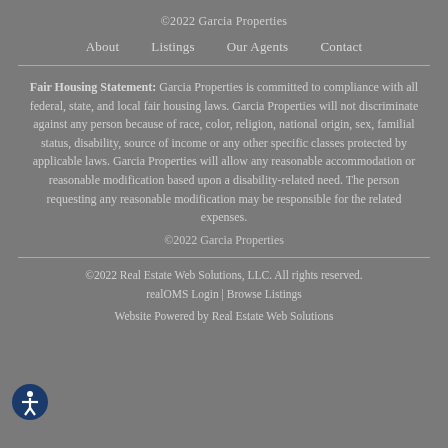©2022 Garcia Properties
About   Listings   Our Agents   Contact
Fair Housing Statement: Garcia Properties is committed to compliance with all federal, state, and local fair housing laws. Garcia Properties will not discriminate against any person because of race, color, religion, national origin, sex, familial status, disability, source of income or any other specific classes protected by applicable laws. Garcia Properties will allow any reasonable accommodation or reasonable modification based upon a disability-related need. The person requesting any reasonable modification may be responsible for the related expenses.
©2022 Garcia Properties
©2022 Real Estate Web Solutions, LLC. All rights reserved. realOMS Login | Browse Listings
Website Powered by Real Estate Web Solutions